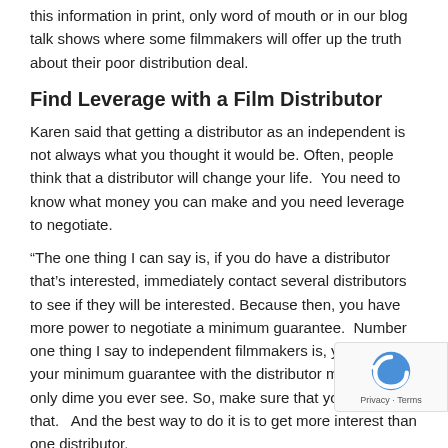this information in print, only word of mouth or in our blog talk shows where some filmmakers will offer up the truth about their poor distribution deal.
Find Leverage with a Film Distributor
Karen said that getting a distributor as an independent is not always what you thought it would be. Often, people think that a distributor will change your life. You need to know what money you can make and you need leverage to negotiate.
“The one thing I can say is, if you do have a distributor that’s interested, immediately contact several distributors to see if they will be interested. Because then, you have more power to negotiate a minimum guarantee. Number one thing I say to independent filmmakers is, your MG, your minimum guarantee with the distributor may be the only dime you ever see. So, make sure that you negotiate that. And the best way to do it is to get more interest than one distributor.
“I did that, and so I was able to negotiate more money than I was originally offered. And I naively thought, oh, well, this is going to be a cakewalk now. But what’s true is my distributor is in the business of making money on movies, and they’re like a shark. They have to keep moving to pick up more films and compete with all these distributors to find the next great documentaries.
Be an Advocate for Yourself